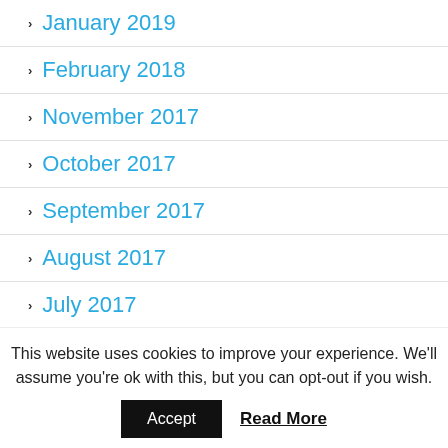January 2019
February 2018
November 2017
October 2017
September 2017
August 2017
July 2017
June 2017
May 2017
This website uses cookies to improve your experience. We'll assume you're ok with this, but you can opt-out if you wish.
Accept  Read More